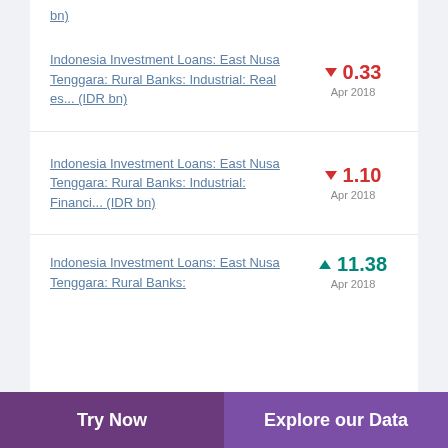Indonesia Investment Loans: East Nusa Tenggara: Rural Banks: Industrial: Real es... (IDR bn)
Indonesia Investment Loans: East Nusa Tenggara: Rural Banks: Industrial: Financi... (IDR bn)
Indonesia Investment Loans: East Nusa Tenggara: Rural Banks:
Try Now | Explore our Data